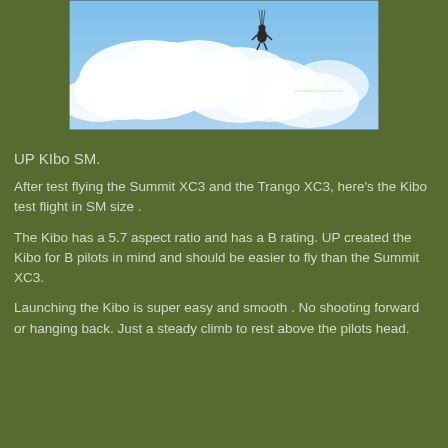[Figure (photo): A paraglider pilot hanging in the air with lines visible above, blue sky with white clouds in background]
UP KIbo SM.
After test flying the Summit XC3 and the Trango XC3, here's the Kibo test flight in SM size .
The Kibo has a 5.7 aspect ratio and has a B rating. UP created the Kibo for B pilots in mind and should be easier to fly than the Summit XC3.
Launching the Kibo is super easy and smooth . No shooting forward or hanging back. Just a steady climb to rest above the pilots head.